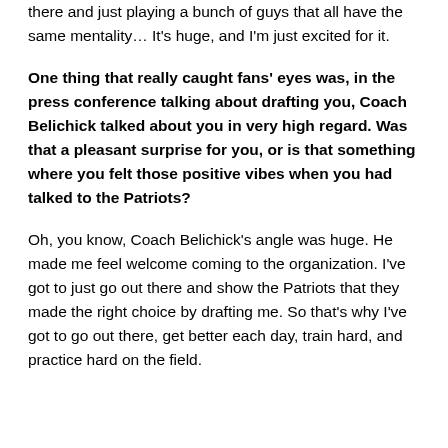there and just playing a bunch of guys that all have the same mentality… It's huge, and I'm just excited for it.
One thing that really caught fans' eyes was, in the press conference talking about drafting you, Coach Belichick talked about you in very high regard. Was that a pleasant surprise for you, or is that something where you felt those positive vibes when you had talked to the Patriots?
Oh, you know, Coach Belichick's angle was huge. He made me feel welcome coming to the organization. I've got to just go out there and show the Patriots that they made the right choice by drafting me. So that's why I've got to go out there, get better each day, train hard, and practice hard on the field.